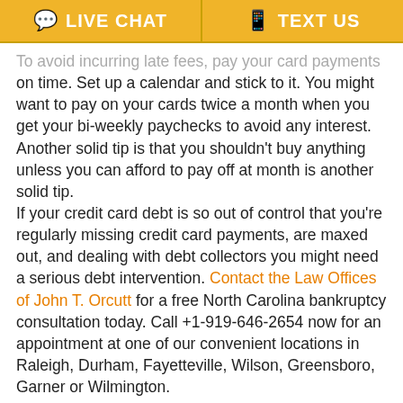LIVE CHAT | TEXT US
To avoid incurring late fees, pay your card payments on time. Set up a calendar and stick to it. You might want to pay on your cards twice a month when you get your bi-weekly paychecks to avoid any interest. Another solid tip is that you shouldn't buy anything unless you can afford to pay off at month is another solid tip.
If your credit card debt is so out of control that you're regularly missing credit card payments, are maxed out, and dealing with debt collectors you might need a serious debt intervention. Contact the Law Offices of John T. Orcutt for a free North Carolina bankruptcy consultation today. Call +1-919-646-2654 now for an appointment at one of our convenient locations in Raleigh, Durham, Fayetteville, Wilson, Greensboro, Garner or Wilmington.